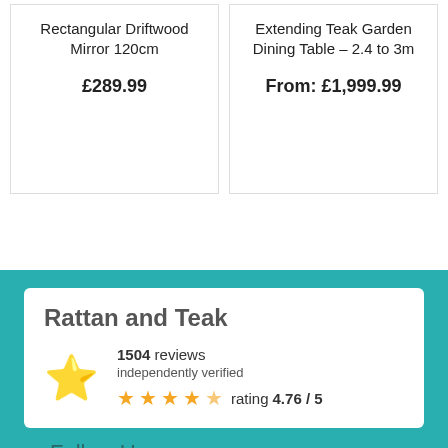Rectangular Driftwood Mirror 120cm
£289.99
Extending Teak Garden Dining Table – 2.4 to 3m
From: £1,999.99
Rattan and Teak
1504 reviews independently verified
rating 4.76 / 5
Follow Us